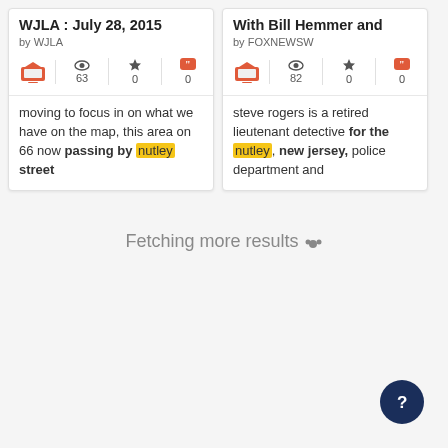[Figure (screenshot): Card for WJLA : July 28, 2015 by WJLA with TV icon, eye icon (63), star icon (0), quote icon (0), and text snippet about nutley street]
[Figure (screenshot): Card for With Bill Hemmer and by FOXNEWSW with TV icon, eye icon (82), star icon (0), quote icon (0), and text snippet about nutley new jersey police department]
Fetching more results
[Figure (other): Dark blue circular help/question mark button in bottom right corner]